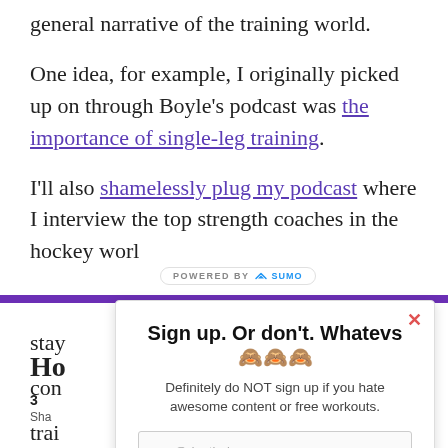general narrative of the training world.
One idea, for example, I originally picked up on through Boyle's podcast was the importance of single-leg training.
I'll also shamelessly plug my podcast where I interview the top strength coaches in the hockey world. Guests include... [partially obscured]
[Figure (screenshot): Sumo popup modal with title 'Sign up. Or don't. Whatevs 🙈🙈🙈', subtitle 'Definitely do NOT sign up if you hate awesome content or free workouts.', email input placeholder 'you@dontbelame', and purple button 'ACTUALLY I DO LIKE FREE SHIT'. Purple bar across page and Sumo badge overlay.]